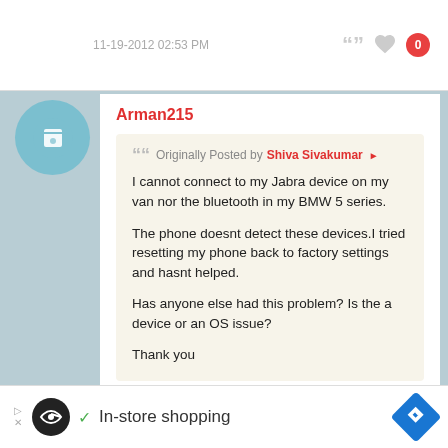11-19-2012 02:53 PM
Arman215
Originally Posted by Shiva Sivakumar
I cannot connect to my Jabra device on my van nor the bluetooth in my BMW 5 series.

The phone doesnt detect these devices.I tried resetting my phone back to factory settings and hasnt helped.

Has anyone else had this problem? Is the a device or an OS issue?

Thank you
In-store shopping